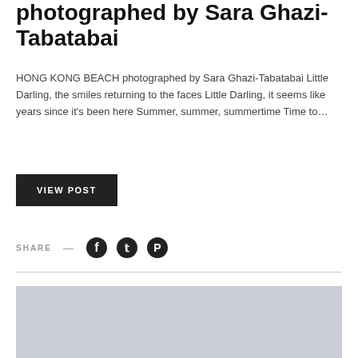photographed by Sara Ghazi-Tabatabai
HONG KONG BEACH photographed by Sara Ghazi-Tabatabai Little Darling, the smiles returning to the faces Little Darling, it seems like years since it's been here Summer, summer, summertime Time to…
VIEW POST
SHARE
[Figure (other): Placeholder image with light blue-grey background]